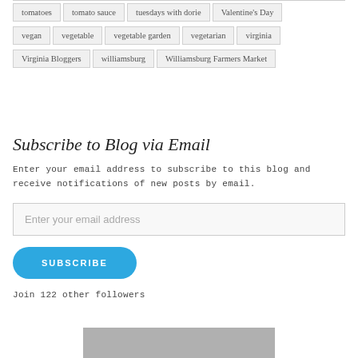tomatoes
tomato sauce
tuesdays with dorie
Valentine's Day
vegan
vegetable
vegetable garden
vegetarian
virginia
Virginia Bloggers
williamsburg
Williamsburg Farmers Market
Subscribe to Blog via Email
Enter your email address to subscribe to this blog and receive notifications of new posts by email.
Enter your email address
SUBSCRIBE
Join 122 other followers
[Figure (photo): Bottom partial image, gray/photo content]